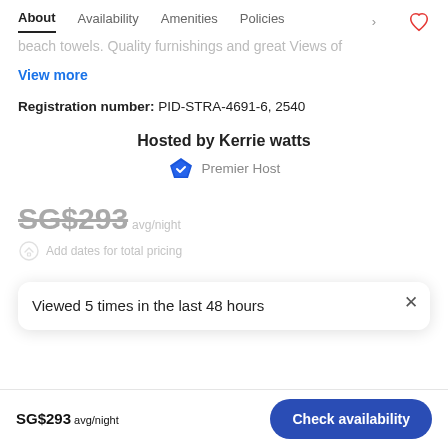About | Availability | Amenities | Policies
beach towels. Quality furnishings and great Views of
View more
Registration number: PID-STRA-4691-6, 2540
Hosted by Kerrie watts
Premier Host
SG$293 avg/night
Add dates for total pricing
Viewed 5 times in the last 48 hours
SG$293 avg/night  Check availability